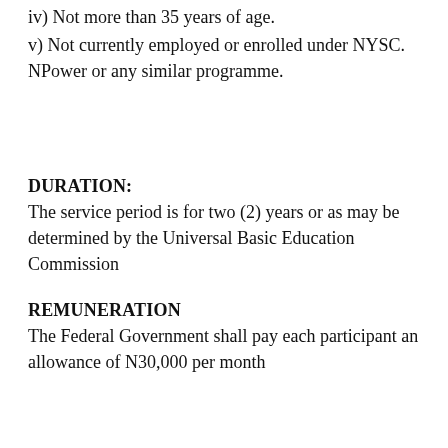iv) Not more than 35 years of age.
v) Not currently employed or enrolled under NYSC. NPower or any similar programme.
DURATION:
The service period is for two (2) years or as may be determined by the Universal Basic Education Commission
REMUNERATION
The Federal Government shall pay each participant an allowance of N30,000 per month